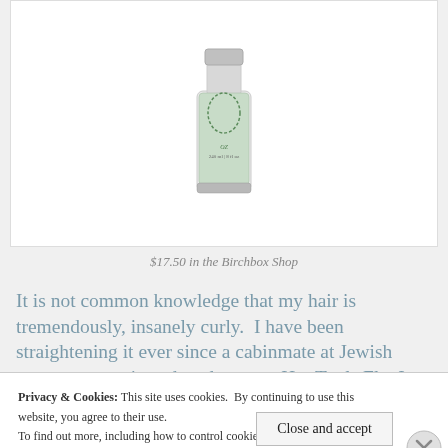[Figure (photo): Product bottle/container with green decorative label, silver metallic bottom, partially visible at top of page]
$17.50 in the Birchbox Shop
It is not common knowledge that my hair is tremendously, insanely curly.  I have been straightening it ever since a cabinmate at Jewish summer camp introduced me to a Hot Tools Flat Iron in middle school.  The majority
Privacy & Cookies: This site uses cookies.  By continuing to use this website, you agree to their use.
To find out more, including how to control cookies, see here: Cookie Policy
Close and accept